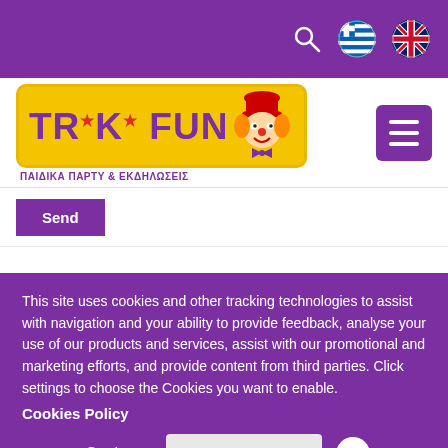[Figure (logo): Triki Fun logo with clown mascot on yellow rounded rectangle background, subtitle in Greek: ΠΑΙΔΙΚΑ ΠΑΡΤΥ & ΕΚΔΗΛΩΣΕΙΣ]
Send
This site uses cookies and other tracking technologies to assist with navigation and your ability to provide feedback, analyse your use of our products and services, assist with our promotional and marketing efforts, and provide content from third parties. Click settings to choose the Cookies you want to enable.
Cookies Policy
Settings
Accept Cookies
x